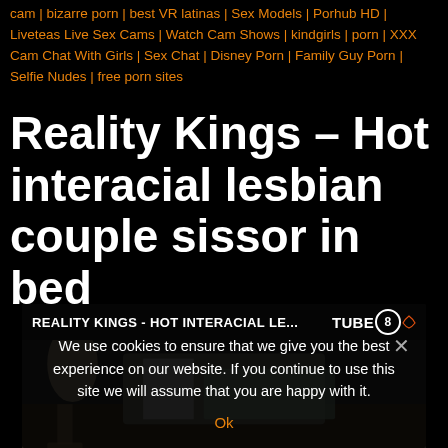cam | bizarre porn | best VR latinas | Sex Models | Porhub HD | Liveteas Live Sex Cams | Watch Cam Shows | kindgirls | porn | XXX Cam Chat With Girls | Sex Chat | Disney Porn | Family Guy Porn | Selfie Nudes | free porn sites
Reality Kings – Hot interacial lesbian couple sissor in bed
[Figure (screenshot): Video thumbnail showing bedroom scene with cookie consent overlay. Video bar reads: REALITY KINGS - HOT INTERACIAL LE... TUBE8 with circular 8 logo. Cookie notice reads: We use cookies to ensure that we give you the best experience on our website. If you continue to use this site we will assume that you are happy with it. Ok button shown in orange.]
We use cookies to ensure that we give you the best experience on our website. If you continue to use this site we will assume that you are happy with it.
Ok